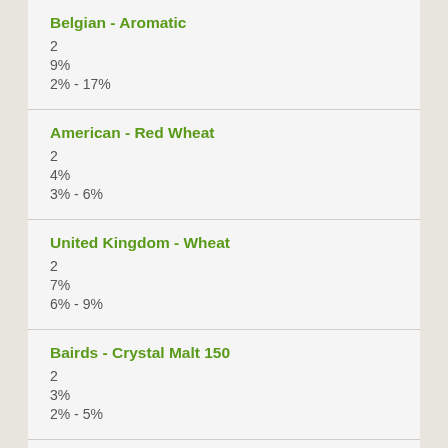Belgian - Aromatic
2
9%
2% - 17%
American - Red Wheat
2
4%
3% - 6%
United Kingdom - Wheat
2
7%
6% - 9%
Bairds - Crystal Malt 150
2
3%
2% - 5%
Flaked Rye